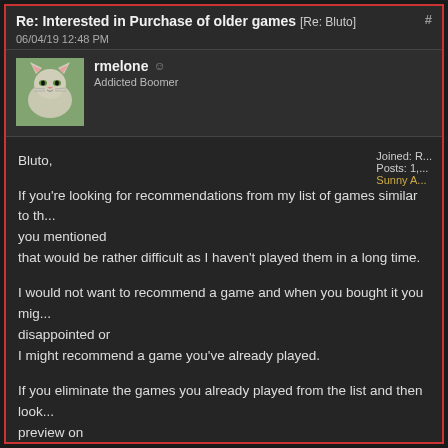Re: Interested in Purchase of older games [Re: Bluto]
06/04/19 12:48 PM
rmelone
Addicted Boomer
Joined: R...
Posts: 1,...
Sunny A...
Bluto,

If you're looking for recommendations from my list of games similar to the ones you mentioned
that would be rather difficult as I haven't played them in a long time.

I would not want to recommend a game and when you bought it you might be disappointed or
I might recommend a game you've already played.

If you eliminate the games you already played from the list and then look for a preview on
the internet of some of the games you haven't played, you might be able to get an idea what
the game is all about to decide if it's a game you would like to play.

Robert